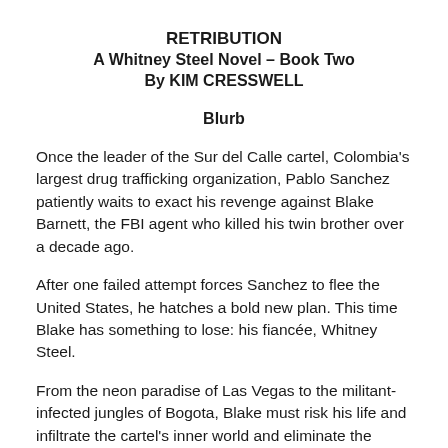RETRIBUTION
A Whitney Steel Novel – Book Two
By KIM CRESSWELL
Blurb
Once the leader of the Sur del Calle cartel, Colombia's largest drug trafficking organization, Pablo Sanchez patiently waits to exact his revenge against Blake Barnett, the FBI agent who killed his twin brother over a decade ago.
After one failed attempt forces Sanchez to flee the United States, he hatches a bold new plan. This time Blake has something to lose: his fiancée, Whitney Steel.
From the neon paradise of Las Vegas to the militant-infected jungles of Bogota, Blake must risk his life and infiltrate the cartel's inner world and eliminate the ruthless drug lord.